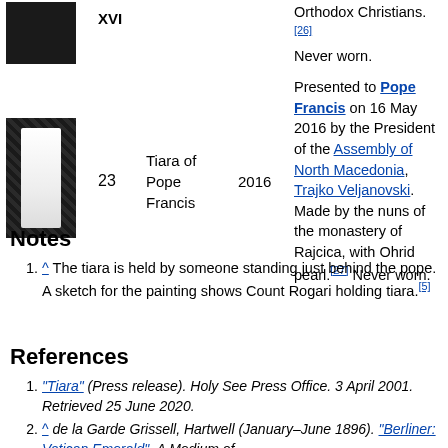|  | # | Name | Year | Description |
| --- | --- | --- | --- | --- |
| [image] | XVI |  |  | Orthodox Christians.[26] Never worn. |
| [image] | 23 | Tiara of Pope Francis | 2016 | Presented to Pope Francis on 16 May 2016 by the President of the Assembly of North Macedonia, Trajko Veljanovski. Made by the nuns of the monastery of Rajcica, with Ohrid pearl.[27] Never worn. |
Notes
^ The tiara is held by someone standing just behind the pope. A sketch for the painting shows Count Rogari holding tiara.[5]
References
^ "Tiara" (Press release). Holy See Press Office. 3 April 2001. Retrieved 25 June 2020.
^ de la Garde Grissell, Hartwell (January–June 1896). "Berliner: Vatican Emerald". A Medium of...